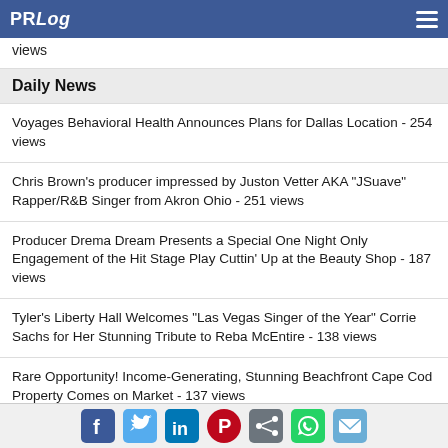PRLog
views
Daily News
Voyages Behavioral Health Announces Plans for Dallas Location - 254 views
Chris Brown's producer impressed by Juston Vetter AKA "JSuave" Rapper/R&B Singer from Akron Ohio - 251 views
Producer Drema Dream Presents a Special One Night Only Engagement of the Hit Stage Play Cuttin' Up at the Beauty Shop - 187 views
Tyler's Liberty Hall Welcomes "Las Vegas Singer of the Year" Corrie Sachs for Her Stunning Tribute to Reba McEntire - 138 views
Rare Opportunity! Income-Generating, Stunning Beachfront Cape Cod Property Comes on Market - 137 views
Social sharing icons: Facebook, Twitter, LinkedIn, Pinterest, Share, WhatsApp, Email